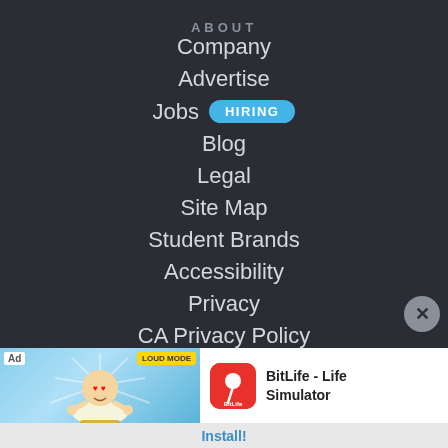ABOUT
Company
Advertise
Jobs HIRING
Blog
Legal
Site Map
Student Brands
Accessibility
Privacy
CA Privacy Policy
[Figure (screenshot): BitLife - Life Simulator app install advertisement banner with cartoon baby figure, app icon, and Install! button]